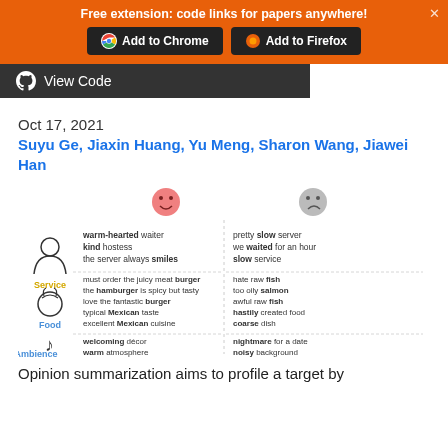Free extension: code links for papers anywhere!
[Figure (screenshot): Browser extension banner with Add to Chrome and Add to Firefox buttons, followed by a View Code button]
Oct 17, 2021
Suyu Ge, Jiaxin Huang, Yu Meng, Sharon Wang, Jiawei Han
[Figure (infographic): Sentiment analysis infographic showing positive (smiley face) and negative (frowny face) opinions for three aspects: Service, Food, and Ambience. Positive Service: warm-hearted waiter, kind hostess, the server always smiles. Negative Service: pretty slow server, we waited for an hour, slow service. Positive Food: must order the juicy meat burger, the hamburger is spicy but tasty, love the fantastic burger, typical Mexican taste, excellent Mexican cuisine. Negative Food: hate raw fish, too oily salmon, awful raw fish, hastily created food, coarse dish. Positive Ambience: welcoming decor, warm atmosphere, give me a comfortable feeling. Negative Ambience: nightmare for a date, noisy background, too much noise.]
Opinion summarization aims to profile a target by